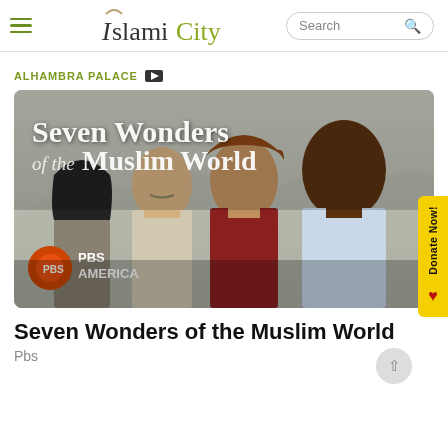IslamiCity — Navigation bar with hamburger menu and search box
ALHAMBRA PALACE 🎥
[Figure (photo): Documentary thumbnail for 'Seven Wonders of the Muslim World' showing several people looking upward, with PBS America logo in bottom-left corner and large white text overlay reading 'Seven Wonders of the Muslim World']
Seven Wonders of the Muslim World
Pbs